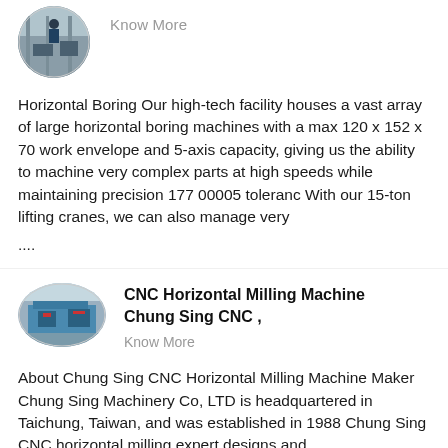[Figure (photo): Circular cropped photo of a manufacturing facility with industrial machinery and a worker]
Know More
Horizontal Boring Our high-tech facility houses a vast array of large horizontal boring machines with a max 120 x 152 x 70 work envelope and 5-axis capacity, giving us the ability to machine very complex parts at high speeds while maintaining precision 177 00005 toleranc With our 15-ton lifting cranes, we can also manage very
....
[Figure (photo): Oval cropped photo of a large CNC horizontal milling machine in a factory setting, shown in blue/teal tones]
CNC Horizontal Milling Machine Chung Sing CNC ,
Know More
About Chung Sing CNC Horizontal Milling Machine Maker Chung Sing Machinery Co, LTD is headquartered in Taichung, Taiwan, and was established in 1988 Chung Sing CNC horizontal milling expert designs and